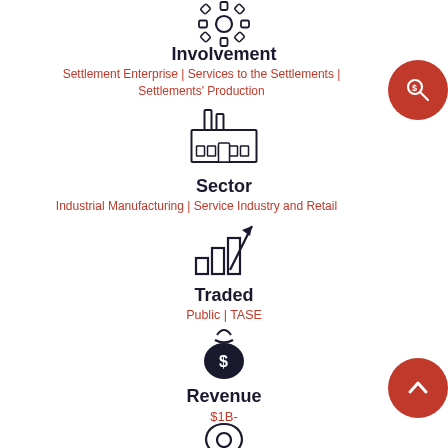[Figure (illustration): Gear/cog icon at top center]
Involvement
Settlement Enterprise | Services to the Settlements | Settlements' Production
[Figure (illustration): Factory/industrial building icon]
Sector
Industrial Manufacturing | Service Industry and Retail
[Figure (illustration): Bar chart with upward arrow icon representing growth/trading]
Traded
Public | TASE
[Figure (illustration): Money bag with dollar sign icon]
Revenue
$1B-
[Figure (illustration): Location pin/map marker icon at bottom]